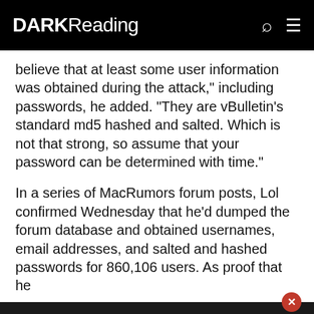DARK Reading
believe that at least some user information was obtained during the attack," including passwords, he added. "They are vBulletin's standard md5 hashed and salted. Which is not that strong, so assume that your password can be determined with time."
In a series of MacRumors forum posts, Lol confirmed Wednesday that he'd dumped the forum database and obtained usernames, email addresses, and salted and hashed passwords for 860,106 users. As proof that he
This site uses cookies to provide you with the best user experience possible. By using Dark Reading, you accept our use of cookies.